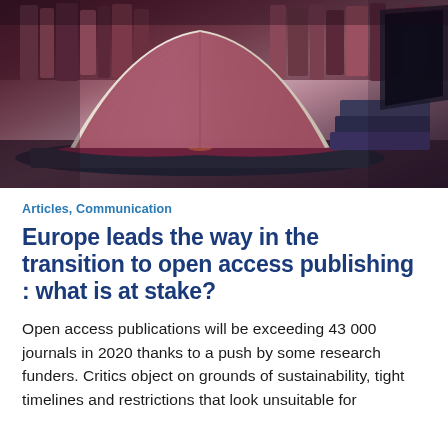[Figure (photo): An open book lying on top of a laptop computer, surrounded by stacked books in the background, with purple-pink toned lighting in a library setting.]
Articles, Communication
Europe leads the way in the transition to open access publishing : what is at stake?
Open access publications will be exceeding 43 000 journals in 2020 thanks to a push by some research funders. Critics object on grounds of sustainability, tight timelines and restrictions that look unsuitable for